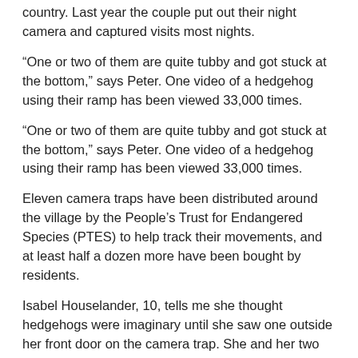country. Last year the couple put out their night camera and captured visits most nights.
“One or two of them are quite tubby and got stuck at the bottom,” says Peter. One video of a hedgehog using their ramp has been viewed 33,000 times.
“One or two of them are quite tubby and got stuck at the bottom,” says Peter. One video of a hedgehog using their ramp has been viewed 33,000 times.
Eleven camera traps have been distributed around the village by the People’s Trust for Endangered Species (PTES) to help track their movements, and at least half a dozen more have been bought by residents.
Isabel Houselander, 10, tells me she thought hedgehogs were imaginary until she saw one outside her front door on the camera trap. She and her two friends now have their own hedgehog holes after being inspired by Powles’s hedgehog presentation at their school.
Coordinating the highway has made Powles realise how much people love wildlife and want to help (“here’s another person who’s completely potty about hedgehogs,” he says on a number of occasions). In each